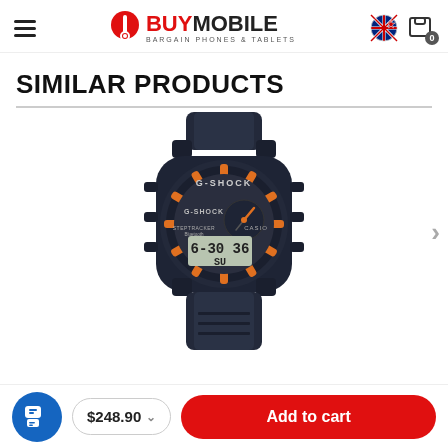BuyMobile - Bargain Phones & Tablets
SIMILAR PRODUCTS
[Figure (photo): Casio G-Shock watch in dark navy/black with orange accents, displaying time 6:30:36 SU, step tracker Bluetooth, analog-digital display]
$248.90  Add to cart